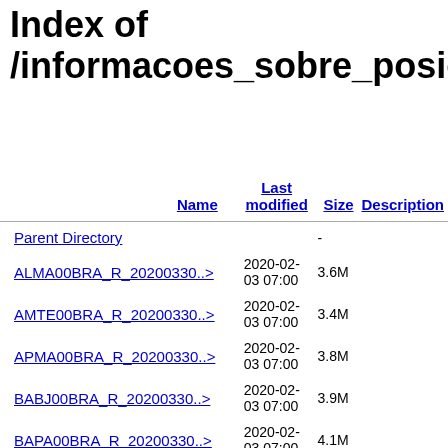Index of /informacoes_sobre_posicioname
| Name | Last modified | Size | Description |
| --- | --- | --- | --- |
| Parent Directory |  | - |  |
| ALMA00BRA_R_20200330..> | 2020-02-03 07:00 | 3.6M |  |
| AMTE00BRA_R_20200330..> | 2020-02-03 07:00 | 3.4M |  |
| APMA00BRA_R_20200330..> | 2020-02-03 07:00 | 3.8M |  |
| BABJ00BRA_R_20200330..> | 2020-02-03 07:00 | 3.9M |  |
| BAPA00BRA_R_20200330..> | 2020-02-03 07:00 | 4.1M |  |
| BELE00BRA_R_20200330..> | 2020-02-03 07:00 | 4.2M |  |
| BOAV00BRA_R_20200330..> | 2020-02-03 07:00 | 4.2M |  |